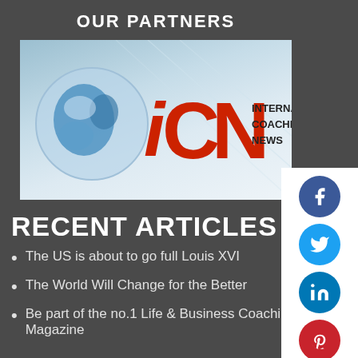OUR PARTNERS
[Figure (logo): ICN International Coaching News logo with globe graphic on light blue/white background]
RECENT ARTICLES
The US is about to go full Louis XVI
The World Will Change for the Better
Be part of the no.1 Life & Business Coaching Magazine